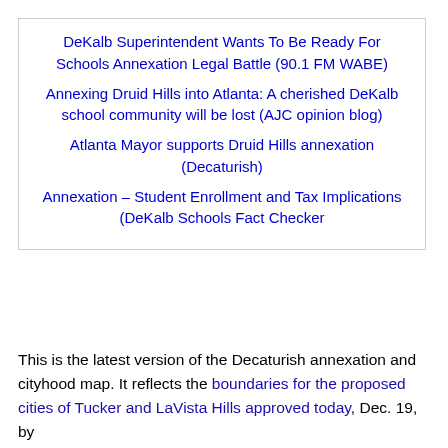DeKalb Superintendent Wants To Be Ready For Schools Annexation Legal Battle (90.1 FM WABE)
Annexing Druid Hills into Atlanta: A cherished DeKalb school community will be lost (AJC opinion blog)
Atlanta Mayor supports Druid Hills annexation (Decaturish)
Annexation – Student Enrollment and Tax Implications (DeKalb Schools Fact Checker
This is the latest version of the Decaturish annexation and cityhood map. It reflects the boundaries for the proposed cities of Tucker and LaVista Hills approved today, Dec. 19, by